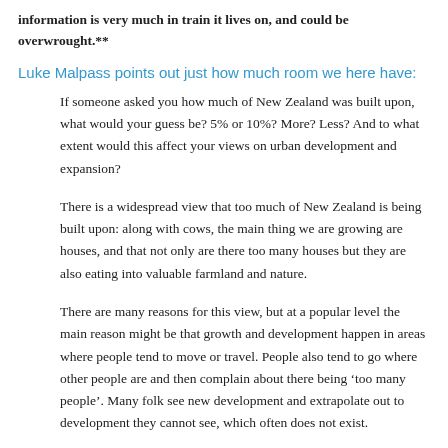information is very much in train it lives on, and could be overwrought.**
Luke Malpass points out just how much room we here have:
If someone asked you how much of New Zealand was built upon, what would your guess be? 5% or 10%? More? Less? And to what extent would this affect your views on urban development and expansion?
There is a widespread view that too much of New Zealand is being built upon: along with cows, the main thing we are growing are houses, and that not only are there too many houses but they are also eating into valuable farmland and nature.
There are many reasons for this view, but at a popular level the main reason might be that growth and development happen in areas where people tend to move or travel. People also tend to go where other people are and then complain about there being ‘too many people’. Many folk see new development and extrapolate out to development they cannot see, which often does not exist.